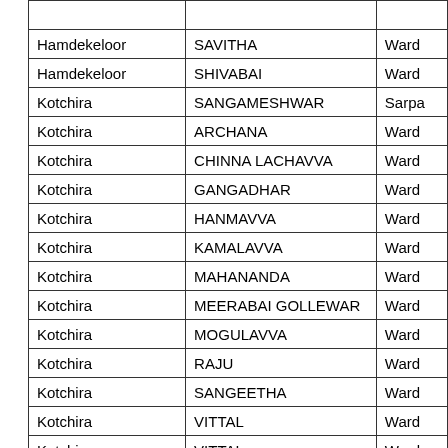| Village | Name | Role |
| --- | --- | --- |
| Hamdekeloor | SAVITHA | Ward |
| Hamdekeloor | SHIVABAI | Ward |
| Kotchira | SANGAMESHWAR | Sarpa |
| Kotchira | ARCHANA | Ward |
| Kotchira | CHINNA LACHAVVA | Ward |
| Kotchira | GANGADHAR | Ward |
| Kotchira | HANMAVVA | Ward |
| Kotchira | KAMALAVVA | Ward |
| Kotchira | MAHANANDA | Ward |
| Kotchira | MEERABAI GOLLEWAR | Ward |
| Kotchira | MOGULAVVA | Ward |
| Kotchira | RAJU | Ward |
| Kotchira | SANGEETHA | Ward |
| Kotchira | VITTAL | Ward |
| Kotchira | VITTAL | Ward |
| Kurla | NEELAKANTESHWAR RAO | Sarpa |